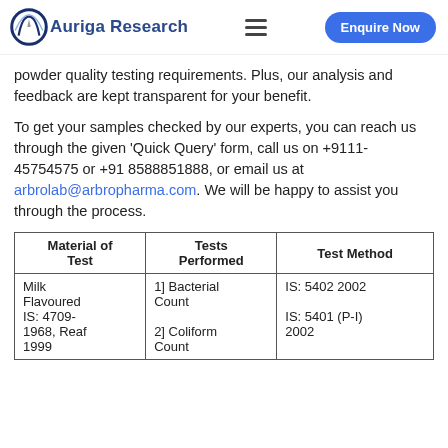Auriga Research | Enquire Now
powder quality testing requirements. Plus, our analysis and feedback are kept transparent for your benefit.
To get your samples checked by our experts, you can reach us through the given ‘Quick Query’ form, call us on +9111- 45754575 or +91 8588851888, or email us at arbrolab@arbropharma.com. We will be happy to assist you through the process.
| Material of
Test | Tests
Performed | Test Method |
| --- | --- | --- |
| Milk
Flavoured
IS: 4709-
1968, Reaf
1999 | 1] Bacterial
Count
2] Coliform
Count | IS: 5402 2002

IS: 5401 (P-I)
2002 |